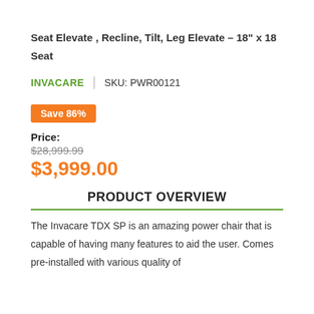Seat Elevate , Recline, Tilt, Leg Elevate – 18" x 18 Seat
INVACARE  |  SKU: PWR00121
Save 86%
Price:
$28,999.99
$3,999.00
PRODUCT OVERVIEW
The Invacare TDX SP is an amazing power chair that is capable of having many features to aid the user. Comes pre-installed with various quality of